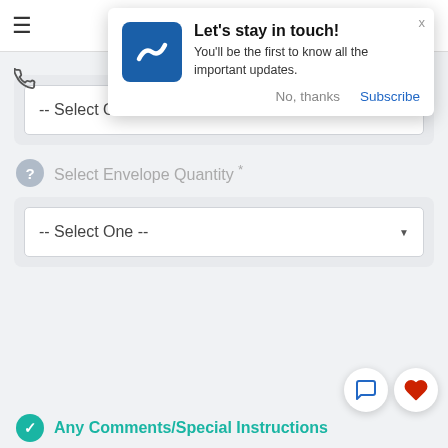[Figure (screenshot): Mobile web app screenshot showing a notification popup overlay on a product order page. The popup has a company logo (blue square with white S), title 'Let's stay in touch!', body text 'You'll be the first to know all the important updates.', and buttons 'No, thanks' and 'Subscribe'. Below the popup are two dropdown selectors labeled '-- Select One --' for envelope quantity, and a section labeled 'Any Comments/Special Instructions' at the bottom.]